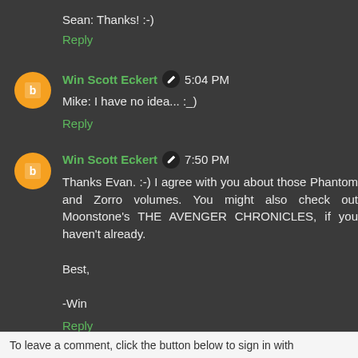Sean: Thanks! :-)
Reply
Win Scott Eckert  5:04 PM
Mike: I have no idea... :_)
Reply
Win Scott Eckert  7:50 PM
Thanks Evan. :-) I agree with you about those Phantom and Zorro volumes. You might also check out Moonstone's THE AVENGER CHRONICLES, if you haven't already.

Best,

-Win
Reply
To leave a comment, click the button below to sign in with